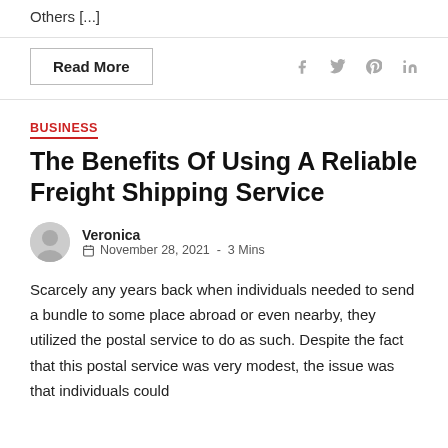Others [...]
Read More
BUSINESS
The Benefits Of Using A Reliable Freight Shipping Service
Veronica
November 28, 2021 - 3 Mins
Scarcely any years back when individuals needed to send a bundle to some place abroad or even nearby, they utilized the postal service to do as such. Despite the fact that this postal service was very modest, the issue was that individuals could